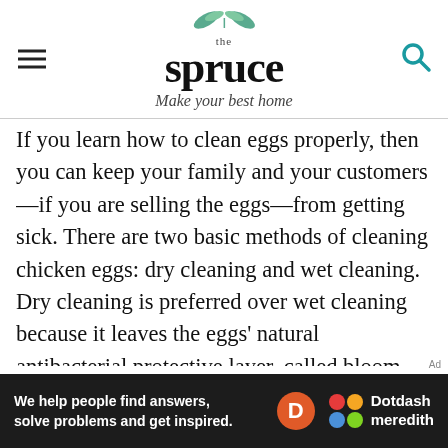the spruce — Make your best home
If you learn how to clean eggs properly, then you can keep your family and your customers—if you are selling the eggs—from getting sick. There are two basic methods of cleaning chicken eggs: dry cleaning and wet cleaning. Dry cleaning is preferred over wet cleaning because it leaves the eggs' natural antibacterial protective layer, called bloom, intact and allows you to store the eggs unrefrigerated if desired.[2] Dry cleaning involves wiping the egg with an abrasive sponge, loofah, or even fine sandpaper
[Figure (other): Dotdash Meredith advertisement banner: 'We help people find answers, solve problems and get inspired.']